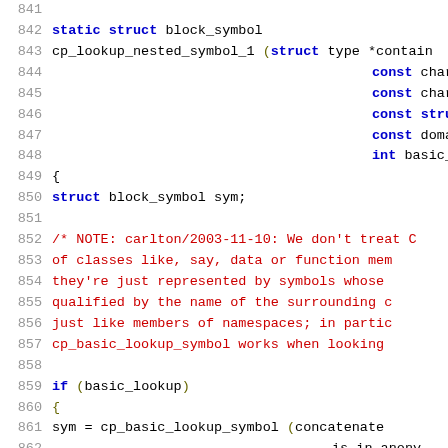[Figure (screenshot): Source code listing (C code) showing lines 841–862 of a file, with syntax highlighting. Line numbers in gray on the left, keywords in blue/bold, comments in red, and normal code in black monospace font.]